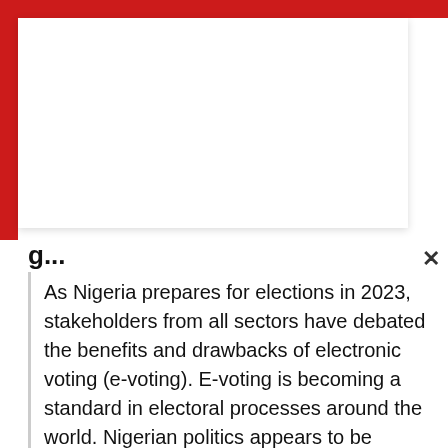g...
As Nigeria prepares for elections in 2023, stakeholders from all sectors have debated the benefits and drawbacks of electronic voting (e-voting). E-voting is becoming a standard in electoral processes around the world. Nigerian politics appears to be edging closer to electronic voting. Estonia, Brazil, and Australia have all introduced e-voting at various levels in their political systems. Nooooo there are not ready ooo Good Question Give us electronic voting, we